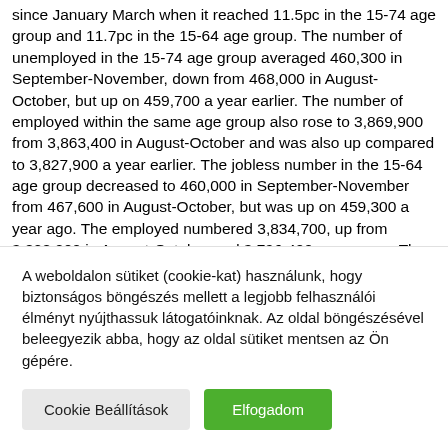since January March when it reached 11.5pc in the 15-74 age group and 11.7pc in the 15-64 age group. The number of unemployed in the 15-74 age group averaged 460,300 in September-November, down from 468,000 in August-October, but up on 459,700 a year earlier. The number of employed within the same age group also rose to 3,869,900 from 3,863,400 in August-October and was also up compared to 3,827,900 a year earlier. The jobless number in the 15-64 age group decreased to 460,000 in September-November from 467,600 in August-October, but was up on 459,300 a year ago. The employed numbered 3,834,700, up from 3,828,200 in August-October and 3,796,400 a year ago. The activity rate in both age groups, at 56.4pc in the 15-74 age group and 63.5pc for the 15-64 age group, was flat from August-October, and grew...
A weboldalon sütiket (cookie-kat) használunk, hogy biztonságos böngészés mellett a legjobb felhasználói élményt nyújthassuk látogatóinknak. Az oldal böngészésével beleegyezik abba, hogy az oldal sütiket mentsen az Ön gépére.